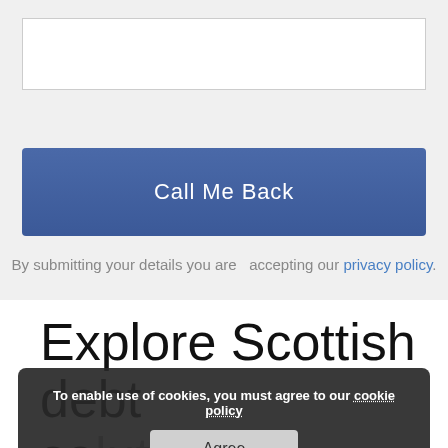[Figure (screenshot): Empty text input field with white background and light gray border]
[Figure (screenshot): Blue 'Call Me Back' button]
By submitting your details you are   accepting our privacy policy.
Explore Scottish debt solutions
To enable use of cookies, you must agree to our cookie policy
Agree